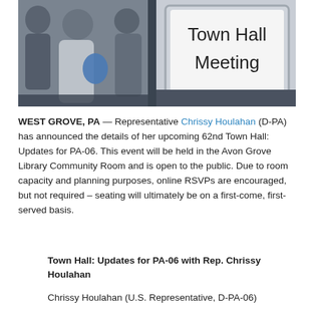[Figure (photo): Photo showing people at a town hall meeting with a sign reading 'Town Hall Meeting' in a silver frame, blurred attendees in background on the left.]
WEST GROVE, PA — Representative Chrissy Houlahan (D-PA) has announced the details of her upcoming 62nd Town Hall: Updates for PA-06. This event will be held in the Avon Grove Library Community Room and is open to the public. Due to room capacity and planning purposes, online RSVPs are encouraged, but not required – seating will ultimately be on a first-come, first-served basis.
Town Hall: Updates for PA-06 with Rep. Chrissy Houlahan
Chrissy Houlahan (U.S. Representative, D-PA-06)